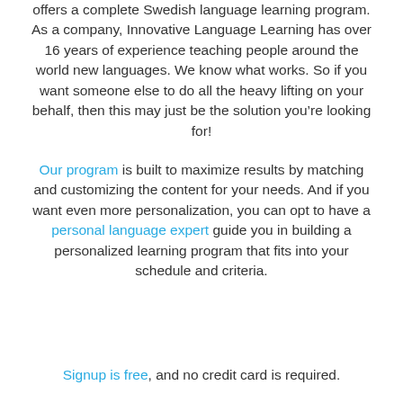offers a complete Swedish language learning program. As a company, Innovative Language Learning has over 16 years of experience teaching people around the world new languages. We know what works. So if you want someone else to do all the heavy lifting on your behalf, then this may just be the solution you’re looking for!
Our program is built to maximize results by matching and customizing the content for your needs. And if you want even more personalization, you can opt to have a personal language expert guide you in building a personalized learning program that fits into your schedule and criteria.
Signup is free, and no credit card is required.